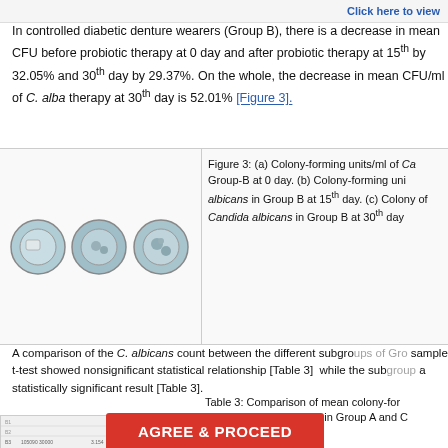Click here to view
In controlled diabetic denture wearers (Group B), there is a decrease in mean CFU before probiotic therapy at 0 day and after probiotic therapy at 15th by 32.05% and 30th day by 29.37%. On the whole, the decrease in mean CFU/ml of C. albicans after therapy at 30th day is 52.01% [Figure 3].
[Figure (photo): Three petri dishes showing colony growth of Candida albicans in Group B]
Figure 3: (a) Colony-forming units/ml of Candida albicans in Group-B at 0 day. (b) Colony-forming units/ml of C. albicans in Group B at 15th day. (c) Colony-forming units/ml of Candida albicans in Group B at 30th day
A comparison of the C. albicans count between the different subgroups of Group by sample t-test showed nonsignificant statistical relationship [Table 3] while the subgroup showed a statistically significant result [Table 3].
Table 3: Comparison of mean colony-forming units of Candida albicans within Group A and Group B using sample t-test
Click here to view